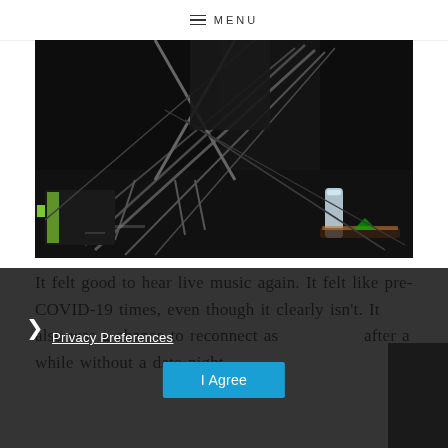MENU
[Figure (photo): Dark stage photo showing cables, microphone stands, equipment cases with yellow tape markings, and a water bottle on a black concert stage floor]
It felt good to hear live music again. It felt like pre-COVID-19 times, even though it clearly isn't. It also was a chance to reconnect as                    after a while without a date night.
Privacy Preferences
I Agree